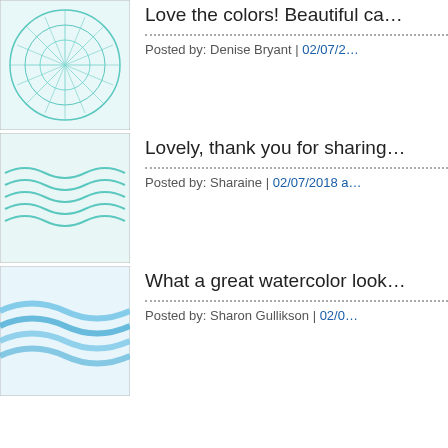[Figure (illustration): Small square thumbnail showing teal/cyan circular mandala pattern]
Love the colors! Beautiful ca…
Posted by: Denise Bryant | 02/07/2…
[Figure (illustration): Small square thumbnail showing teal wave pattern]
Lovely, thank you for sharing…
Posted by: Sharaine | 02/07/2018 a…
[Figure (illustration): Small square thumbnail showing blue wave watercolor pattern]
What a great watercolor look…
Posted by: Sharon Gullikson | 02/0…
[Figure (illustration): Small square thumbnail showing green/yellow mandala pattern]
Wow gorgeous colouring!!!
Posted by: Judie Attard | 02/07/201…
[Figure (illustration): Small square thumbnail showing green sunburst/flower pattern]
Beautiful card. I love the wate…
Posted by: cyndi morris | 02/07/201…
[Figure (illustration): Small square thumbnail showing blue/grey spirograph pattern]
What a pretty card! Your tech… hand drawn and painted wate…